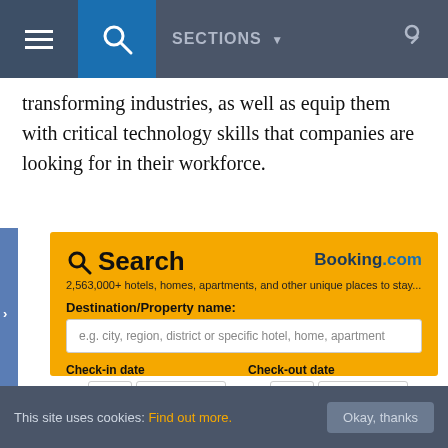SECTIONS
transforming industries, as well as equip them with critical technology skills that companies are looking for in their workforce.
[Figure (screenshot): Booking.com hotel search widget with orange background, showing search fields for Destination/Property name, Check-in date (19 August '22), Check-out date (20 August '22), checkbox for 'I don't have specific dates yet', and checkmarks for 'Book now, pay later' and 'We Price Match'.]
This site uses cookies: Find out more. Okay, thanks